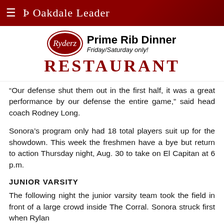Oakdale Leader
[Figure (other): Ryderz Restaurant advertisement with oval logo, Prime Rib Dinner text, Friday/Saturday only, and stylized RESTAURANT heading in dark red]
“Our defense shut them out in the first half, it was a great performance by our defense the entire game,” said head coach Rodney Long.
Sonora’s program only had 18 total players suit up for the showdown. This week the freshmen have a bye but return to action Thursday night, Aug. 30 to take on El Capitan at 6 p.m.
JUNIOR VARSITY
The following night the junior varsity team took the field in front of a large crowd inside The Corral. Sonora struck first when Rylan